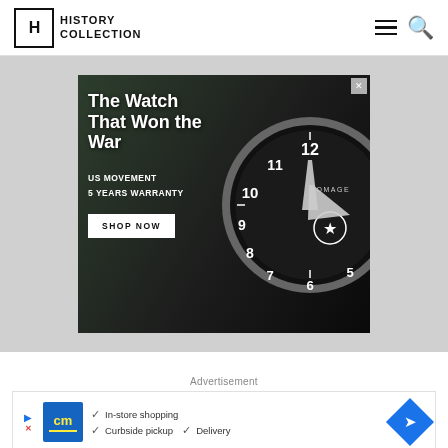HISTORY COLLECTION
[Figure (photo): Advertisement banner for HOMAGE watch brand: 'The Watch That Won the War' with military-themed background, close-up of black dial watch, text 'US MOVEMENT 5 YEARS WARRANTY', and 'SHOP NOW' button]
Advertisement
[Figure (other): Advertisement banner for CM (store) showing checklist: In-store shopping, Curbside pickup, Delivery with navigation arrow icon]